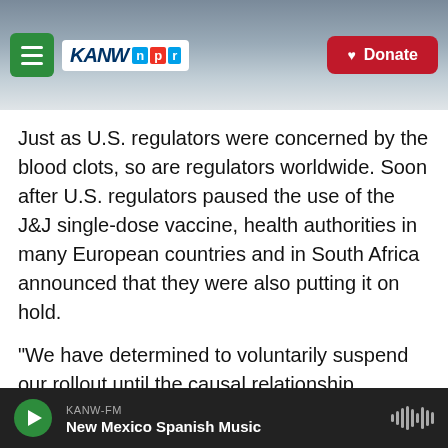[Figure (screenshot): KANW NPR radio station website header with green menu button, KANW NPR logo, mountain background, and red Donate button]
Just as U.S. regulators were concerned by the blood clots, so are regulators worldwide. Soon after U.S. regulators paused the use of the J&J single-dose vaccine, health authorities in many European countries and in South Africa announced that they were also putting it on hold.
"We have determined to voluntarily suspend our rollout until the causal relationship between the development of clots and the Johnson & Johnson vaccine is sufficiently interrogated," South African Health Minister Zweli Mkhize said in an online press briefing on Tuesday.
KANW-FM
New Mexico Spanish Music